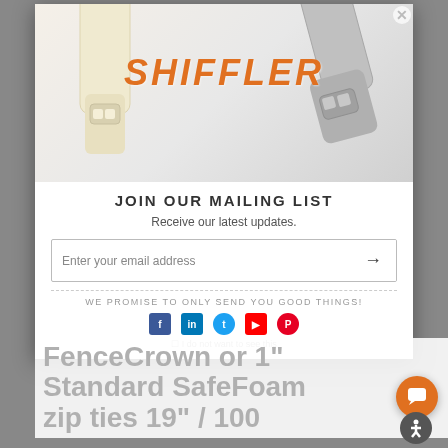[Figure (photo): Product photo popup/modal showing Shiffler logo on background with zip ties (cream and gray colored)]
JOIN OUR MAILING LIST
Receive our latest updates.
Enter your email address →
WE PROMISE TO ONLY SEND YOU GOOD THINGS!
FenceCrown or 1" Standard SafeFoam zip ties 19" / 100
I do not want to see this